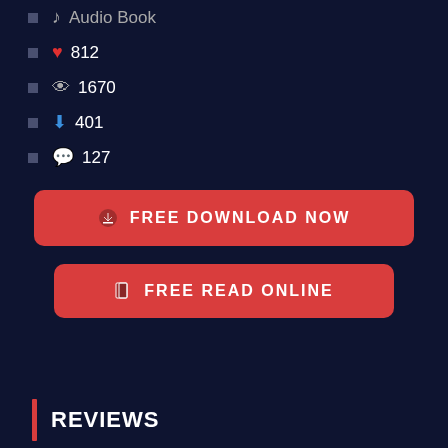Audio Book
❤ 812
👁 1670
⬇ 401
💬 127
[Figure (other): Red button labeled FREE DOWNLOAD NOW with download icon]
[Figure (other): Red button labeled FREE READ ONLINE with book icon]
REVIEWS